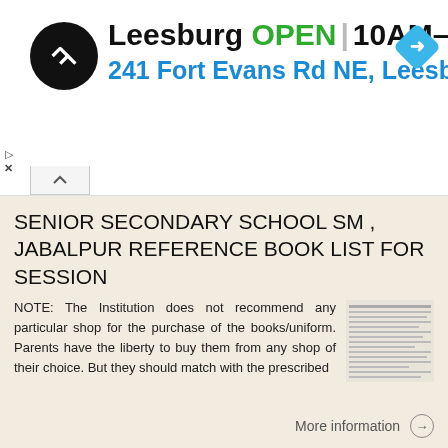[Figure (screenshot): Advertisement banner for a store in Leesburg showing logo, OPEN status, hours 10AM-9PM, and address 241 Fort Evans Rd NE, Leesburg with navigation icon]
SENIOR SECONDARY SCHOOL SM JABALPUR REFERENCE BOOK LIST FOR SESSION
NOTE: The Institution does not recommend any particular shop for the purchase of the books/uniform. Parents have the liberty to buy them from any shop of their choice. But they should match with the prescribed
More information →
St. Joseph s Convent Senior Secondary School, Ratlam List of Course Books for Session
St. Joseph s Convent Senior Secondary